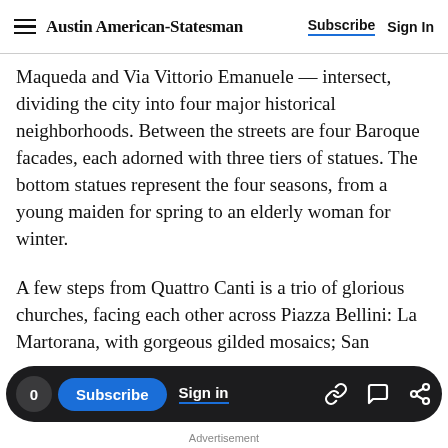Austin American-Statesman  Subscribe  Sign In
Maqueda and Via Vittorio Emanuele — intersect, dividing the city into four major historical neighborhoods. Between the streets are four Baroque facades, each adorned with three tiers of statues. The bottom statues represent the four seasons, from a young maiden for spring to an elderly woman for winter.
A few steps from Quattro Canti is a trio of glorious churches, facing each other across Piazza Bellini: La Martorana, with gorgeous gilded mosaics; San Cataldo, filling a former mosque; and the highlight — Santa Caterina, where a simple exterior hides
0  Subscribe  Sign in  Advertisement